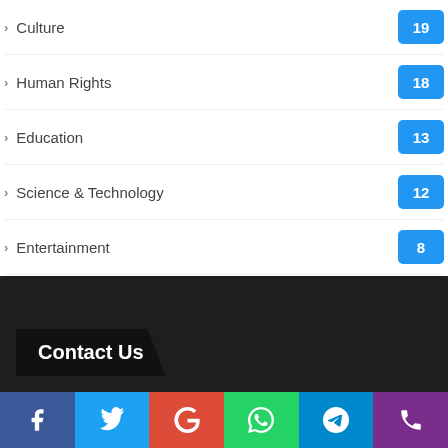Culture 19
Human Rights 18
Education 13
Science & Technology 12
Entertainment 8
Tourism 7
Migrants & Refugees 6
Tech 5
Economic Develoment 4
Contact Us
Facebook | Twitter | Google+ | WhatsApp | Telegram | Phone